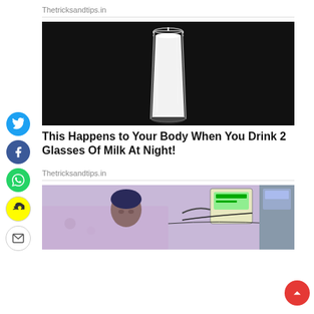Thetricksandtips.in
[Figure (photo): Glass of milk on a dark black background]
This Happens to Your Body When You Drink 2 Glasses Of Milk At Night!
Thetricksandtips.in
[Figure (photo): A woman in a hospital bed connected to medical equipment]